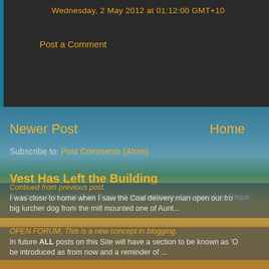Wednesday, 2 May 2012 at 01:12:00 GMT+10
Post a Comment
Newer Post
Home
Subscribe to: Post Comments (Atom)
Vest Has Left the Building
To advise that Vest (Les Bowyer) passed away this morning. Regar
Contiued from previous post.
I was close to home when I saw the Coal delivery man open our fro big lurcher dog from the mill mounted one of Aunt...
OPEN FORUM. This is a new concept in blogging.
In future ALL posts on this Site will have a section to be known as 'O be introduced as from now and a reminder of ...